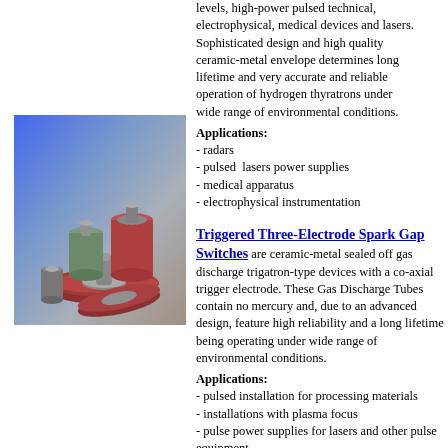levels, high-power pulsed technical, electrophysical, medical devices and lasers. Sophisticated design and high quality ceramic-metal envelope determines long lifetime and very accurate and reliable operation of hydrogen thyratrons under wide range of environmental conditions.
Applications:
- radars
- pulsed  lasers power supplies
- medical apparatus
- electrophysical instrumentation
[Figure (photo): Photo of hydrogen thyratron ceramic-metal tube components including cylindrical and disc-shaped devices on blue-grey background]
Triggered Three-Electrode Spark Gap Switches are ceramic-metal sealed off gas discharge trigatron-type devices with a co-axial trigger electrode. These Gas Discharge Tubes contain no mercury and, due to an advanced design, feature high reliability and a long lifetime being operating under wide range of environmental conditions.
Applications:
- pulsed installation for processing materials
- installations with plasma focus
- pulse power supplies for lasers and other pulse equipment
- medical apparatus such as lithotriptors and defibrillators